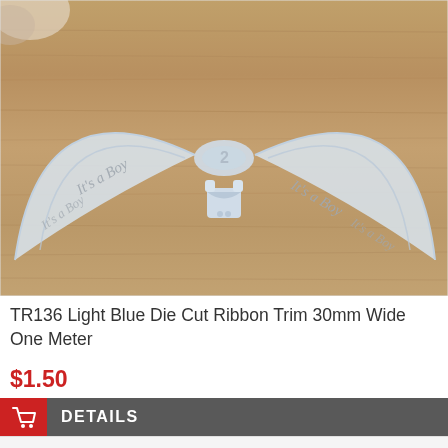[Figure (photo): Light blue die cut ribbon trim shaped in a wave/bow pattern with 'It's a Boy' text embossed, and a baby onesie charm in the center, laid on a wooden surface.]
TR136 Light Blue Die Cut Ribbon Trim 30mm Wide One Meter
$1.50
DETAILS